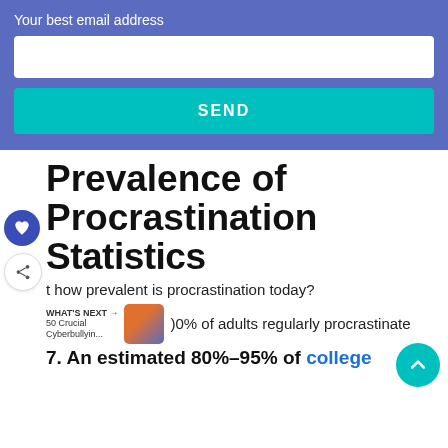Your best email address
SEND
Prevalence of Procrastination Statistics
how prevalent is procrastination today?
WHAT'S NEXT → 50 Crucial Cyberbullyin...
0% of adults regularly procrastinate
7. An estimated 80%–95% of college